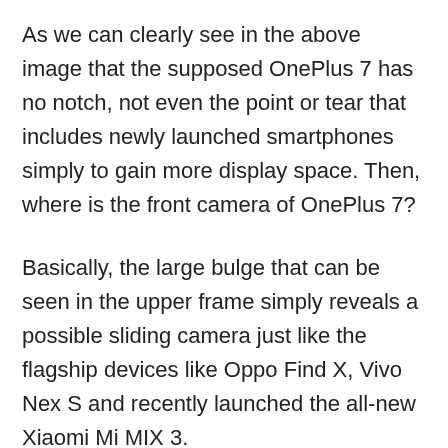As we can clearly see in the above image that the supposed OnePlus 7 has no notch, not even the point or tear that includes newly launched smartphones simply to gain more display space. Then, where is the front camera of OnePlus 7?
Basically, the large bulge that can be seen in the upper frame simply reveals a possible sliding camera just like the flagship devices like Oppo Find X, Vivo Nex S and recently launched the all-new Xiaomi Mi MIX 3.
But, the fact is that all this does not stop being speculation since we do not know the reliability